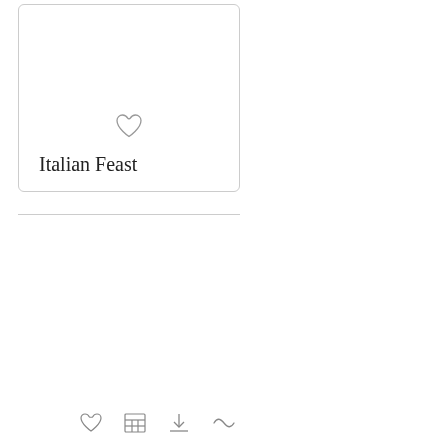[Figure (illustration): A card UI element with a heart/favorite icon and label 'Italian Feast', with rounded corners and a light border]
Italian Feast
[Figure (illustration): Bottom toolbar row with heart icon, grid/table icon, download icon, and tilde/wave icon]